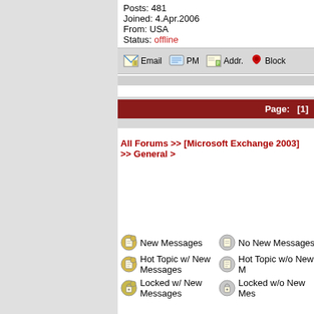Posts: 481
Joined: 4.Apr.2006
From: USA
Status: offline
[Figure (infographic): Forum action buttons: Email, PM, Addr., Block with icons]
[Figure (infographic): Dark red navigation bar showing Page: [1]]
All Forums >> [Microsoft Exchange 2003] >> General >
New Messages
No New Messages
Hot Topic w/ New Messages
Hot Topic w/o New M
Locked w/ New Messages
Locked w/o New Mes